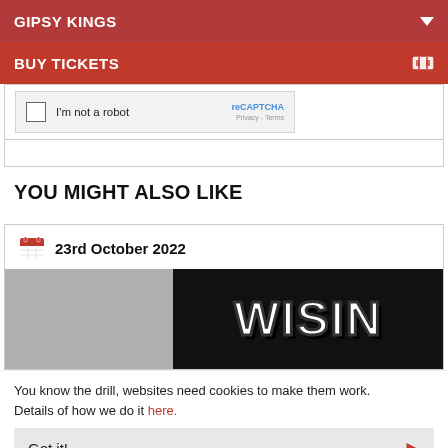GIPSY KINGS
BUY TICKETS
[Figure (screenshot): reCAPTCHA widget with checkbox and 'I'm not a robot' text]
YOU MIGHT ALSO LIKE
23rd October 2022
[Figure (photo): Black and white image showing 'WISIN' text on dark background, with grey panel on left]
You know the drill, websites need cookies to make them work. Details of how we do it here.
Got it!